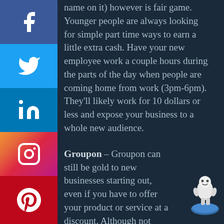name on it) however is fair game. Younger people are always looking for simple part time ways to earn a little extra cash. Have your new employee work a couple hours during the parts of the day when people are coming home from work (3pm-6pm). They'll likely work for 10 dollars or less and expose your business to a whole new audience.
Groupon – Groupon can still be gold to new businesses starting out, even if you have to offer your product or service at a discount. Although not every business is accepted in most cases they'll be happy to hear you out and negotiate a deal that works. It will
[Figure (illustration): Social media share buttons on the left side: Facebook (blue), Twitter (light blue), LinkedIn (blue), Instagram (gradient pink/purple), Pinterest (red)]
[Figure (illustration): Small 3D robot/figure sitting on a globe, bottom right corner]